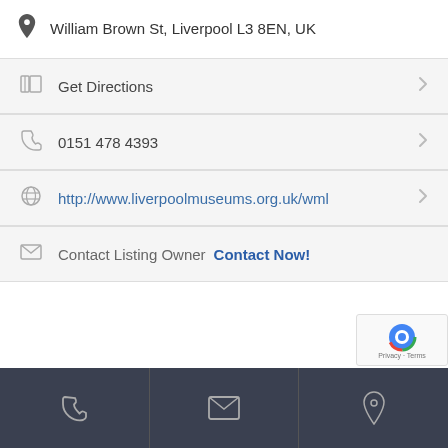William Brown St, Liverpool L3 8EN, UK
Get Directions
0151 478 4393
http://www.liverpoolmuseums.org.uk/wml
Contact Listing Owner  Contact Now!